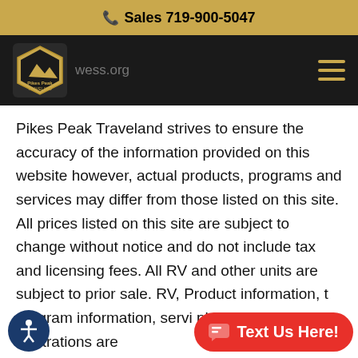Sales 719-900-5047
[Figure (logo): Pikes Peak Traveland RV dealership logo on dark navigation bar with URL text partially visible]
Pikes Peak Traveland strives to ensure the accuracy of the information provided on this website however, actual products, programs and services may differ from those listed on this site. All prices listed on this site are subject to change without notice and do not include tax and licensing fees. All RV and other units are subject to prior sale. RV, Product information, t... program information, servi... photographs and illustrations are